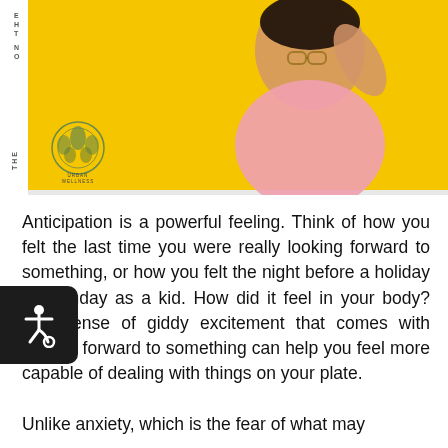[Figure (photo): A joyful person in a pink patterned shirt raising their hand, against a bright yellow background, with 'ON THE' vertical text and an Urban Wellness logo on the left side]
Anticipation is a powerful feeling. Think of how you felt the last time you were really looking forward to something, or how you felt the night before a holiday or birthday as a kid. How did it feel in your body? The sense of giddy excitement that comes with looking forward to something can help you feel more capable of dealing with things on your plate.
Unlike anxiety, which is the fear of what may